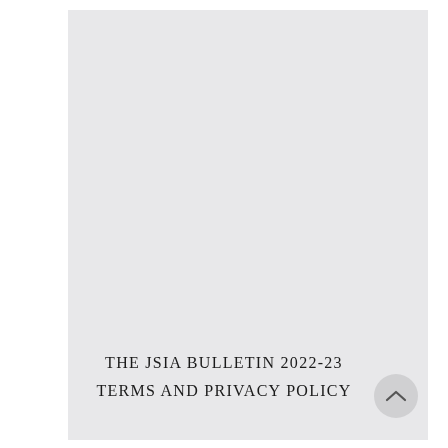[Figure (other): Light grey rectangle background filling most of the page, representing a document cover or image placeholder area]
THE JSIA BULLETIN 2022-23
TERMS AND PRIVACY POLICY